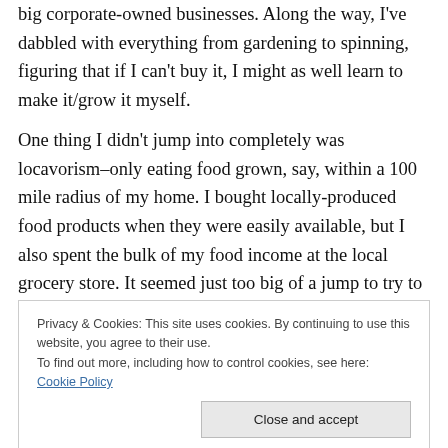big corporate-owned businesses. Along the way, I've dabbled with everything from gardening to spinning, figuring that if I can't buy it, I might as well learn to make it/grow it myself.
One thing I didn't jump into completely was locavorism–only eating food grown, say, within a 100 mile radius of my home. I bought locally-produced food products when they were easily available, but I also spent the bulk of my food income at the local grocery store. It seemed just too big of a jump to try to eat only protein, veggies, grains, and fats produced nearby.
Privacy & Cookies: This site uses cookies. By continuing to use this website, you agree to their use.
To find out more, including how to control cookies, see here: Cookie Policy
plunge this year and try for a 100-mile diet. As I wrote out